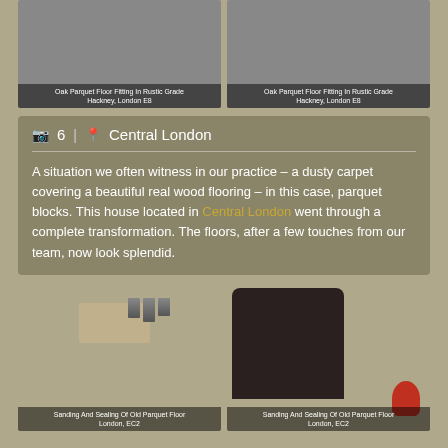[Figure (photo): Two photos of Oak Parquet Floor Fitting in Rustic Grade, Hackney, London E8]
Oak Parquet Floor Fitting In Rustic Grade Hackney, London E8
Oak Parquet Floor Fitting In Rustic Grade Hackney, London E8
6 | Central London
A situation we often witness in our practice – a dusty carpet covering a beautiful real wood flooring – in this case, parquet blocks. This house located in Central London went through a complete transformation. The floors, after a few touches from our team, now look splendid.
[Figure (photo): Two photos of Sanding And Sealing Of Old Parquet Floor London, EC2]
Sanding And Sealing Of Old Parquet Floor London, EC2
Sanding And Sealing Of Old Parquet Floor London, EC2